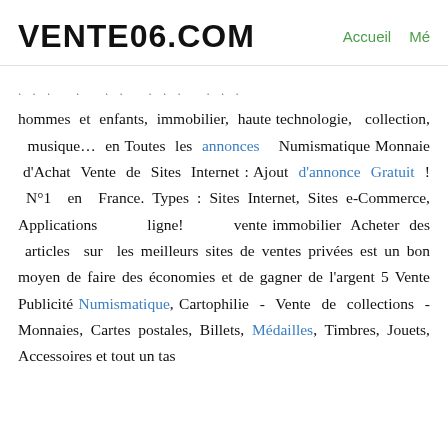VENTE06.COM   Accueil  Mé
hommes et enfants, immobilier, haute technologie, collection, musique… en Toutes les annonces Numismatique Monnaie d'Achat Vente de Sites Internet : Ajout d'annonce Gratuit ! N°1 en France. Types : Sites Internet, Sites e-Commerce, Applications ligne! vente immobilier Acheter des articles sur les meilleurs sites de ventes privées est un bon moyen de faire des économies et de gagner de l'argent 5 Vente Publicité Numismatique, Cartophilie - Vente de collections - Monnaies, Cartes postales, Billets, Médailles, Timbres, Jouets, Accessoires et tout un tas